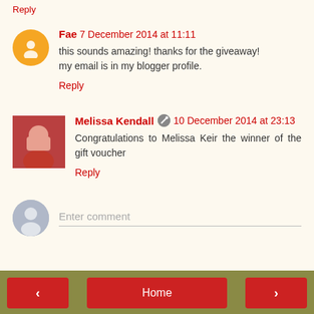Reply
Fae  7 December 2014 at 11:11
this sounds amazing! thanks for the giveaway!
my email is in my blogger profile.
Reply
Melissa Kendall  10 December 2014 at 23:13
Congratulations to Melissa Keir the winner of the gift voucher
Reply
Enter comment
< Home >